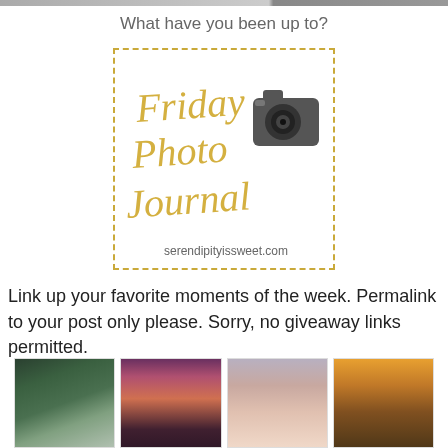[Figure (screenshot): Top strip showing partial photo thumbnails cut off at top of page]
What have you been up to?
[Figure (logo): Friday Photo Journal logo badge with dashed gold border, italic gold script reading 'Friday Photo Journal', a camera illustration, and text 'serendipityissweet.com']
Link up your favorite moments of the week. Permalink to your post only please. Sorry, no giveaway links permitted.
[Figure (photo): Four thumbnail photos at bottom: waterfall, sunset with trees, baby with headband, and road/railway tracks at sunset]